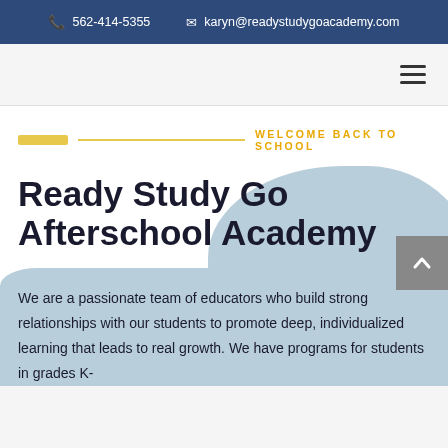📞 562-414-5355   ✉ karyn@readystudygoacademy.com
[Figure (screenshot): Navigation hamburger menu icon (three horizontal lines) on light gray background]
WELCOME BACK TO SCHOOL
Ready Study Go Afterschool Academy
We are a passionate team of educators who build strong relationships with our students to promote deep, individualized learning that leads to real growth. We have programs for students in grades K-